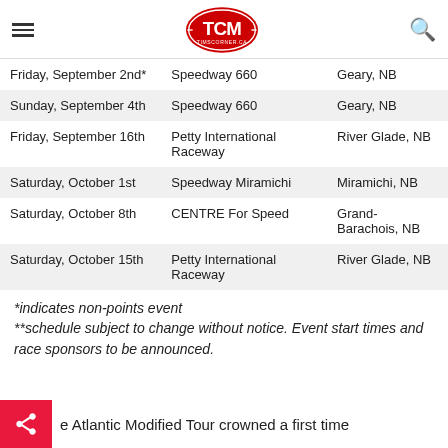TCM – TimsCorner.ca navigation header
| Date | Venue | Location |
| --- | --- | --- |
| Friday, September 2nd* | Speedway 660 | Geary, NB |
| Sunday, September 4th | Speedway 660 | Geary, NB |
| Friday, September 16th | Petty International Raceway | River Glade, NB |
| Saturday, October 1st | Speedway Miramichi | Miramichi, NB |
| Saturday, October 8th | CENTRE For Speed | Grand-Barachois, NB |
| Saturday, October 15th | Petty International Raceway | River Glade, NB |
*indicates non-points event
**schedule subject to change without notice. Event start times and race sponsors to be announced.
e Atlantic Modified Tour crowned a first time